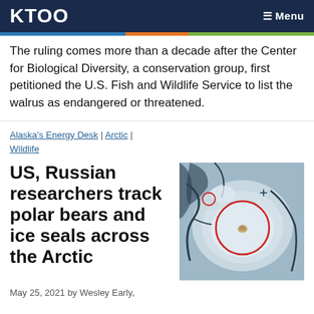KTOO   ≡ Menu
The ruling comes more than a decade after the Center for Biological Diversity, a conservation group, first petitioned the U.S. Fish and Wildlife Service to list the walrus as endangered or threatened.
Alaska's Energy Desk | Arctic | Wildlife
US, Russian researchers track polar bears and ice seals across the Arctic
[Figure (photo): Aerial/satellite image of Arctic ice with a red circle highlighting a seal or polar bear on the ice surface]
May 25, 2021 by Wesley Early,